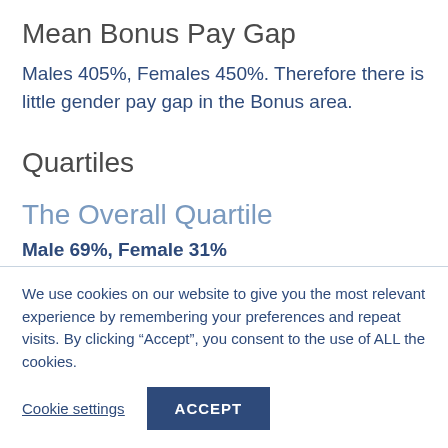Mean Bonus Pay Gap
Males 405%, Females 450%. Therefore there is little gender pay gap in the Bonus area.
Quartiles
The Overall Quartile
Male 69%, Female 31%
We use cookies on our website to give you the most relevant experience by remembering your preferences and repeat visits. By clicking “Accept”, you consent to the use of ALL the cookies.